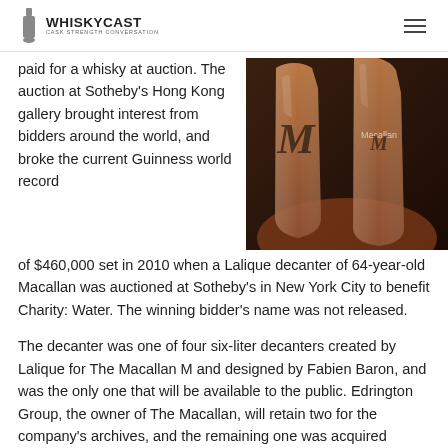WhiskyCast — Cask Strength Conversation
paid for a whisky at auction. The auction at Sotheby's Hong Kong gallery brought interest from bidders around the world, and broke the current Guinness world record of $460,000 set in 2010 when a Lalique decanter of 64-year-old Macallan was auctioned at Sotheby's in New York City to benefit Charity: Water. The winning bidder's name was not released.
[Figure (photo): Close-up photo of two Macallan M crystal decanters with amber whisky, showing engraved Macallan M logo on glass]
The decanter was one of four six-liter decanters created by Lalique for The Macallan M and designed by Fabien Baron, and was the only one that will be available to the public. Edrington Group, the owner of The Macallan, will retain two for the company's archives, and the remaining one was acquired privately by an Asian investor. The super-size decanters are